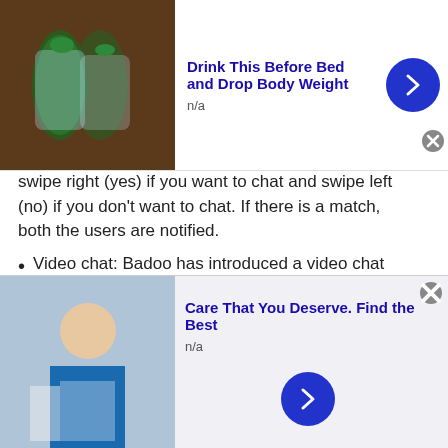[Figure (other): Top advertisement banner: image of drinks with cucumber/mint, title 'Drink This Before Bed and Drop Body Weight', n/a label, blue arrow button, close X button]
swipe right (yes) if you want to chat and swipe left (no) if you don't want to chat. If there is a match, both the users are notified.
Video chat: Badoo has introduced a video chat feature that allows you to chat 1-1 with your partner.
Badoo has some safety features to protect users from any kind of mishap. It has a 'selfie request' button through which girls can ask a boy they're chatting with to send a 'selfie' to prove that it is the same person as in the
[Figure (other): Bottom advertisement banner: image of medical professional, title 'Care That You Deserve. Find the Best', n/a label, blue arrow button, close X button]